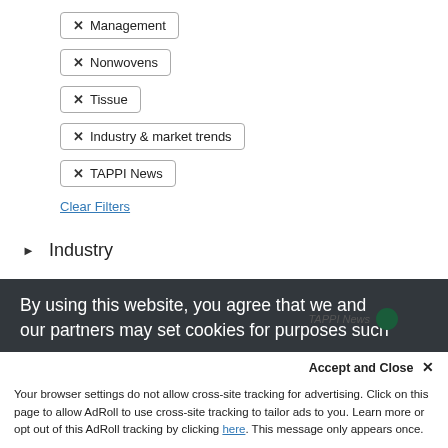× Management
× Nonwovens
× Tissue
× Industry & market trends
× TAPPI News
Clear Filters
▶ Industry
▶ Topics
▶ Content Type
▶ Event Type
By using this website, you agree that we and our partners may set cookies for purposes such
Accept and Close ✕
Your browser settings do not allow cross-site tracking for advertising. Click on this page to allow AdRoll to use cross-site tracking to tailor ads to you. Learn more or opt out of this AdRoll tracking by clicking here. This message only appears once.